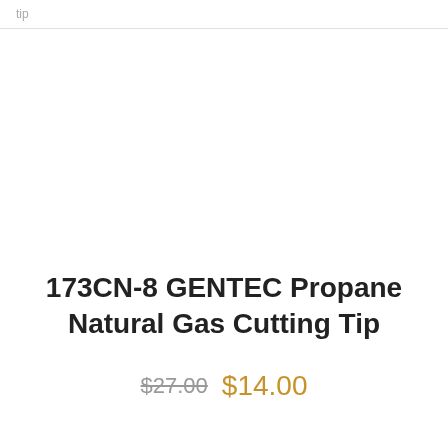tip
173CN-8 GENTEC Propane Natural Gas Cutting Tip
$27.00  $14.00